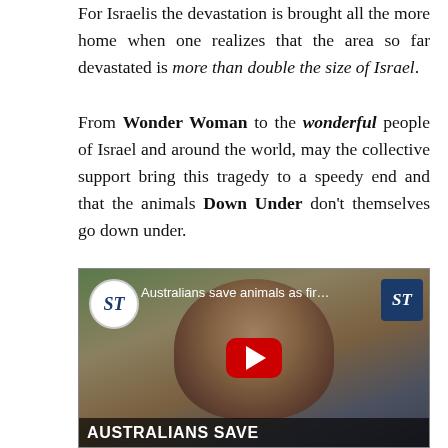For Israelis the devastation is brought all the more home when one realizes that the area so far devastated is more than double the size of Israel. From Wonder Woman to the wonderful people of Israel and around the world, may the collective support bring this tragedy to a speedy end and that the animals Down Under don't themselves go down under.
[Figure (screenshot): YouTube video thumbnail showing a person holding a small furry animal (possum or similar marsupial), with ST (Straits Times) logo in top-left circle and top-right blue box, video title 'Australians save animals as fir...' and bottom caption 'AUSTRALIANS SAVE' with a red YouTube play button in the center.]